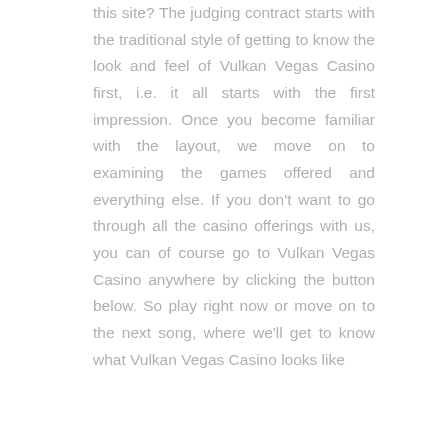this site? The judging contract starts with the traditional style of getting to know the look and feel of Vulkan Vegas Casino first, i.e. it all starts with the first impression. Once you become familiar with the layout, we move on to examining the games offered and everything else. If you don't want to go through all the casino offerings with us, you can of course go to Vulkan Vegas Casino anywhere by clicking the button below. So play right now or move on to the next song, where we'll get to know what Vulkan Vegas Casino looks like